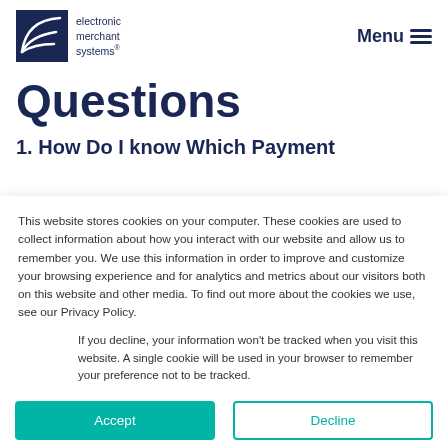electronic merchant systems | Menu
Questions
1. How Do I know Which Payment
This website stores cookies on your computer. These cookies are used to collect information about how you interact with our website and allow us to remember you. We use this information in order to improve and customize your browsing experience and for analytics and metrics about our visitors both on this website and other media. To find out more about the cookies we use, see our Privacy Policy.
If you decline, your information won't be tracked when you visit this website. A single cookie will be used in your browser to remember your preference not to be tracked.
Accept | Decline